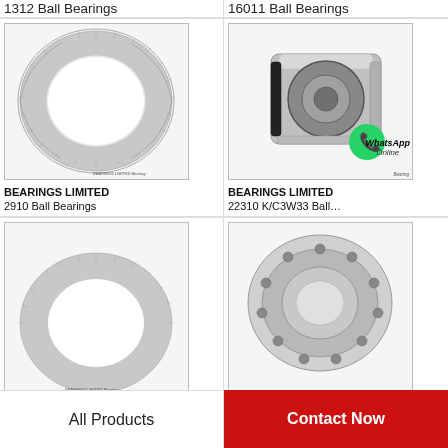1312 Ball Bearings
16011 Ball Bearings
[Figure (photo): Thrust needle roller bearing ring, flat annular shape with fine ridging, BEARINGS LIMITED 2910 Ball Bearings]
[Figure (photo): Cylindrical sealed ball bearing hub unit with black rubber seal, WhatsApp Online overlay, BEARINGS LIMITED 22310 K/C3W33 Ball...]
BEARINGS LIMITED
2910 Ball Bearings
BEARINGS LIMITED
22310 K/C3W33 Ball…
[Figure (photo): Partial view of thrust needle roller bearing ring, same style as 2910]
[Figure (photo): Partial view of open ball bearing ring from above]
All Products
Contact Now